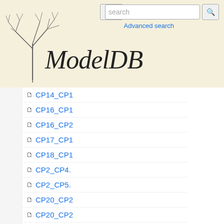[Figure (screenshot): ModelDB website header with neural tree logo, hamburger menu, search bar, and Advanced search link]
END
CP14_CP1
CP16_CP1
CP16_CP2
CP17_CP1
CP18_CP1
CP2_CP4.
CP2_CP5.
CP20_CP2
CP20_CP2
CP22_CP2
CP22_CP2
CP24_CP2
CP24_CP2
CP26_CP2
CP26_CP2